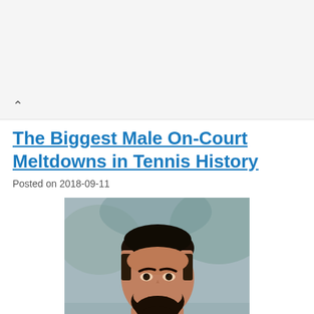The Biggest Male On-Court Meltdowns in Tennis History
Posted on 2018-09-11
[Figure (photo): Close-up photo of a dark-haired man with a beard wearing a dark shirt, with a blurred outdoor background]